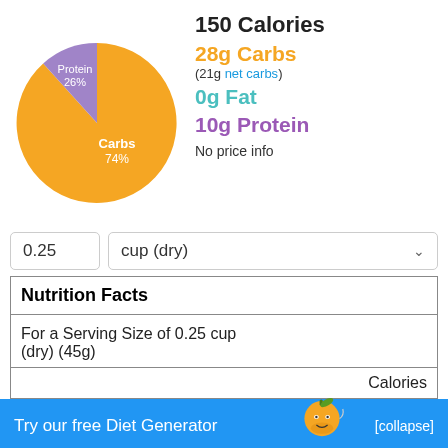[Figure (pie-chart): Macros]
150 Calories
28g Carbs
(21g net carbs)
0g Fat
10g Protein
No price info
0.25
cup (dry)
| Nutrition Facts |
| For a Serving Size of 0.25 cup (dry) (45g) |
| Calories |
Try our free Diet Generator
[collapse]
I want to eat 1500 calories in 4 meals.
Generate